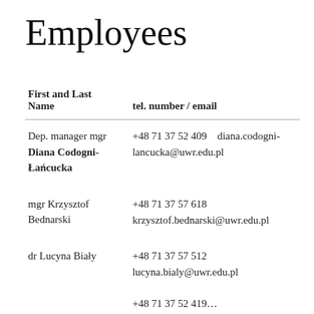Employees
| First and Last Name | tel. number / email |
| --- | --- |
| Dep. manager mgr Diana Codogni-Łańcucka | +48 71 37 52 409    diana.codogni-lancucka@uwr.edu.pl |
| mgr Krzysztof Bednarski | +48 71 37 57 618
krzysztof.bednarski@uwr.edu.pl |
| dr Lucyna Biały | +48 71 37 57 512
lucyna.bialy@uwr.edu.pl |
|  | +48 71 37 52 419 |